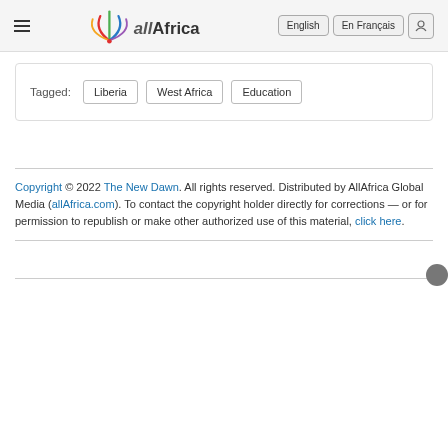allAfrica — English | En Français
Tagged: Liberia  West Africa  Education
Copyright © 2022 The New Dawn. All rights reserved. Distributed by AllAfrica Global Media (allAfrica.com). To contact the copyright holder directly for corrections — or for permission to republish or make other authorized use of this material, click here.